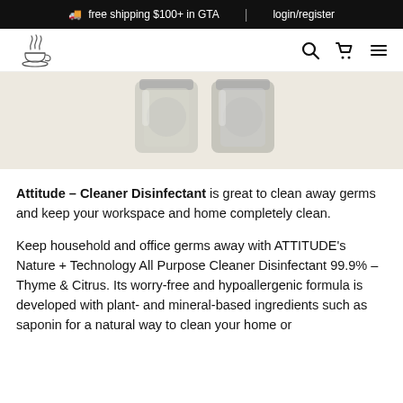🚚 free shipping $100+ in GTA  |  login/register
[Figure (logo): Coffee cup logo with steam, line art style]
[Figure (photo): Product photo showing two glass jars of Attitude Cleaner Disinfectant on a light beige background]
Attitude – Cleaner Disinfectant is great to clean away germs and keep your workspace and home completely clean.
Keep household and office germs away with ATTITUDE's Nature + Technology All Purpose Cleaner Disinfectant 99.9% – Thyme & Citrus. Its worry-free and hypoallergenic formula is developed with plant- and mineral-based ingredients such as saponin for a natural way to clean your home or